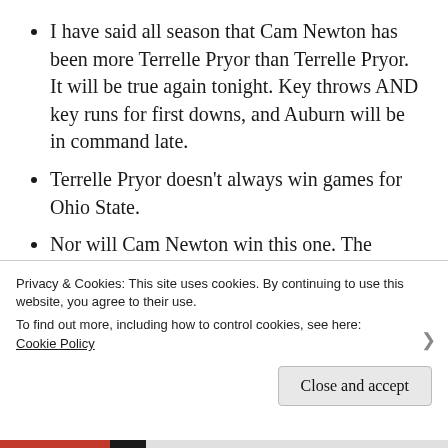I have said all season that Cam Newton has been more Terrelle Pryor than Terrelle Pryor. It will be true again tonight. Key throws AND key runs for first downs, and Auburn will be in command late.
Terrelle Pryor doesn’t always win games for Ohio State.
Nor will Cam Newton win this one. The player of the game, for Auburn, will be Michael Dyer…and, when Oregon pulls even late, it will be a Dyer run that sets up the
Privacy & Cookies: This site uses cookies. By continuing to use this website, you agree to their use.
To find out more, including how to control cookies, see here: Cookie Policy